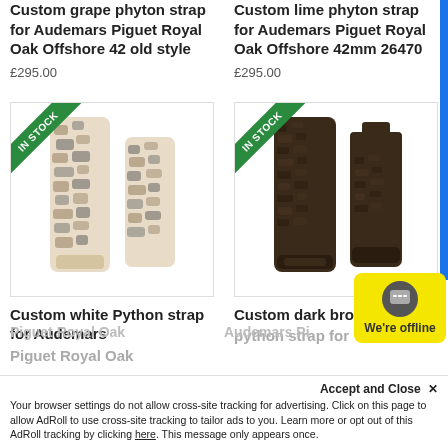Custom grape phyton strap for Audemars Piguet Royal Oak Offshore 42 old style
£295.00
Custom lime phyton strap for Audemars Piguet Royal Oak Offshore 42mm 26470
£295.00
[Figure (photo): Watch strap made of white/natural python skin with black markings, INSTOCK badge]
[Figure (photo): Watch strap made of dark brown textured leather/python, INSTOCK badge]
Custom white Python strap for Audemars
Custom dark brown python strap for
Piguet Royal Oak
Audemars Pi
Accept and Close ✕
Your browser settings do not allow cross-site tracking for advertising. Click on this page to allow AdRoll to use cross-site tracking to tailor ads to you. Learn more or opt out of this AdRoll tracking by clicking here. This message only appears once.